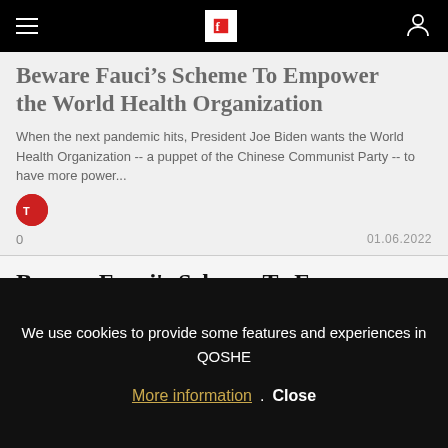Flipboard navigation header
Beware Fauci's Scheme To Empower the World Health Organization
When the next pandemic hits, President Joe Biden wants the World Health Organization -- a puppet of the Chinese Communist Party -- to have more power...
0   01.06.2022
Beware Fauci's Scheme To Empower the World Health Organization
When the next pandemic hits, President Joe Biden wants the World Health Organization -- a puppet of the Chinese Communist Party -- to have more power...
We use cookies to provide some features and experiences in QOSHE
More information . Close